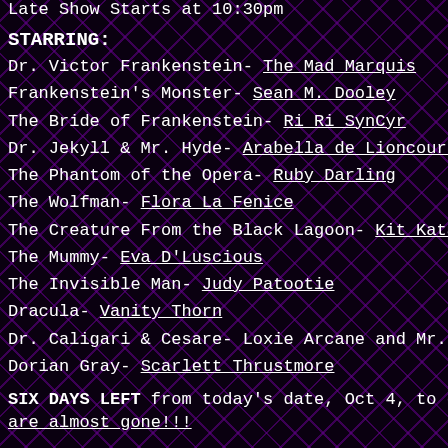Late Show Starts at 10:30pm
STARRING:
Dr. Victor Frankenstein- The Mad Marquis
Frankenstein's Monster- Sean M. Dooley
The Bride of Frankenstein- Ri Ri SynCyr
Dr. Jekyll & Mr. Hyde- Arabella de Lioncourt
The Phantom of the Opera- Ruby Darling
The Wolfman- Flora La Fenice
The Creature From the Black Lagoon- Kit Katastrophic
The Mummy- Eva D'Luscious
The Invisible Man- Judy Patootie
Dracula- Vanity Thorn
Dr. Caligari & Cesare- Loxie Arcane and Mr. Arcane (yes he
Dorian Gray- Scarlett Thrustmore
SIX DAYS LEFT from today's date, Oct 4, to get your ticke
are almost gone!!!